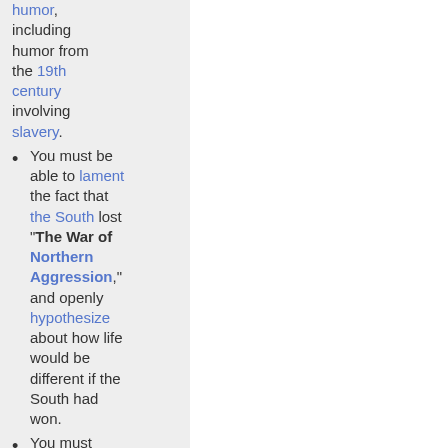humor, including humor from the 19th century involving slavery.
You must be able to lament the fact that the South lost "The War of Northern Aggression," and openly hypothesize about how life would be different if the South had won.
You must enjoy hunting, fishing, and other outdoors faire.
You must believe in "keeping women in their proper place".